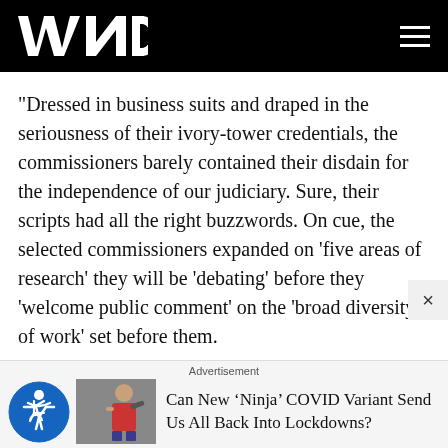WND
"Dressed in business suits and draped in the seriousness of their ivory-tower credentials, the commissioners barely contained their disdain for the independence of our judiciary. Sure, their scripts had all the right buzzwords. On cue, the selected commissioners expanded on 'five areas of research' they will be 'debating' before they 'welcome public comment' on the 'broad diversity of work' set before them.
"Rather than let history speak for itself, the commission intends to redraft the narrative, setting the debate in a
Advertisement
Can New ‘Ninja’ COVID Variant Send Us All Back Into Lockdowns?